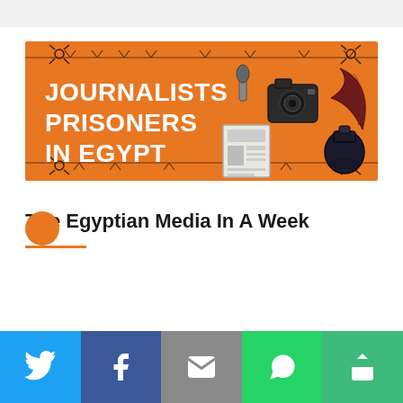[Figure (illustration): Orange banner illustration showing journalist tools (microphone, camera, newspaper, ink bottle with quill pen) surrounded by barbed wire, with bold white text reading 'JOURNALISTS PRISONERS IN EGYPT']
The Egyptian Media In A Week
[Figure (infographic): Social sharing bar with five buttons: Twitter (blue bird icon), Facebook (blue f icon), Email (grey envelope icon), WhatsApp (green phone icon), and a green share/more icon]